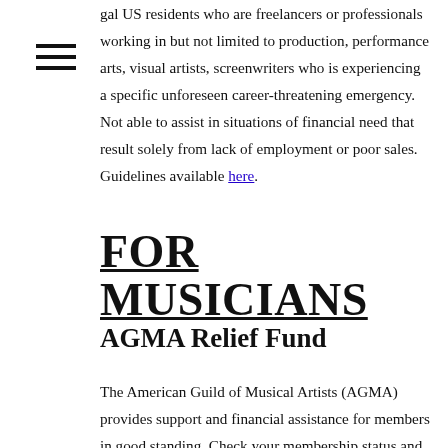gal US residents who are freelancers or professionals working in but not limited to production, performance arts, visual artists, screenwriters who is experiencing a specific unforeseen career-threatening emergency. Not able to assist in situations of financial need that result solely from lack of employment or poor sales. Guidelines available here.
FOR MUSICIANS
AGMA Relief Fund
The American Guild of Musical Artists (AGMA) provides support and financial assistance for members in good standing. Check your membership status and apply here.